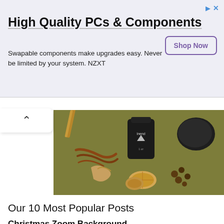[Figure (advertisement): Ad banner for NZXT PCs and Components with Shop Now button]
[Figure (photo): Overhead product shot of herbal supplement bottle (Inend brand) on olive/khaki background surrounded by herbs and roots including ginger, licorice root, black garlic, seeds]
Our 10 Most Popular Posts
Christmas Zoom Background
37345 Views
How to Add Filters for Zoom